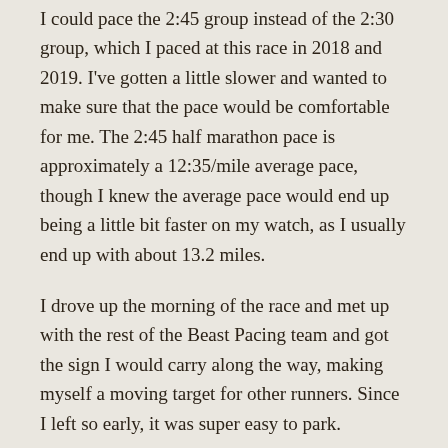I could pace the 2:45 group instead of the 2:30 group, which I paced at this race in 2018 and 2019. I've gotten a little slower and wanted to make sure that the pace would be comfortable for me. The 2:45 half marathon pace is approximately a 12:35/mile average pace, though I knew the average pace would end up being a little bit faster on my watch, as I usually end up with about 13.2 miles.
I drove up the morning of the race and met up with the rest of the Beast Pacing team and got the sign I would carry along the way, making myself a moving target for other runners. Since I left so early, it was super easy to park.
This was the 11th half marathon I've paced, and I kept to my usual strategy of wearing a pace band that has the elapsed time I should be at each mile marker. I also walk through the water stops.